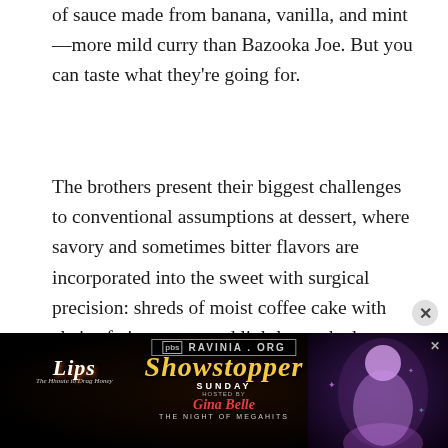of sauce made from banana, vanilla, and mint—more mild curry than Bazooka Joe. But you can taste what they're going for.
The brothers present their biggest challenges to conventional assumptions at dessert, where savory and sometimes bitter flavors are incorporated into the sweet with surgical precision: shreds of moist coffee cake with chai-tofu ice cream and lightly smoked meringue, or peach and tomato salsa with tomato molasses accompanying the hottest, freshest doughnuts I've ever encountered in an upscale restaurant.
[Figure (other): Advertisement banner for Ravinia, featuring Lips drag show 'Showstopper Sunday' hosted by Gina Belle, with sparkly dark background and performer photo]